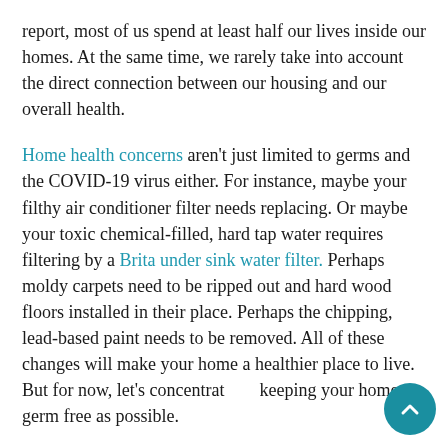report, most of us spend at least half our lives inside our homes. At the same time, we rarely take into account the direct connection between our housing and our overall health.
Home health concerns aren't just limited to germs and the COVID-19 virus either. For instance, maybe your filthy air conditioner filter needs replacing. Or maybe your toxic chemical-filled, hard tap water requires filtering by a Brita under sink water filter. Perhaps moldy carpets need to be ripped out and hard wood floors installed in their place. Perhaps the chipping, lead-based paint needs to be removed. All of these changes will make your home a healthier place to live. But for now, let's concentrate on keeping your home as germ free as possible.
That said, here are some effective ways you can maintain a healthy home both while the COVID-19